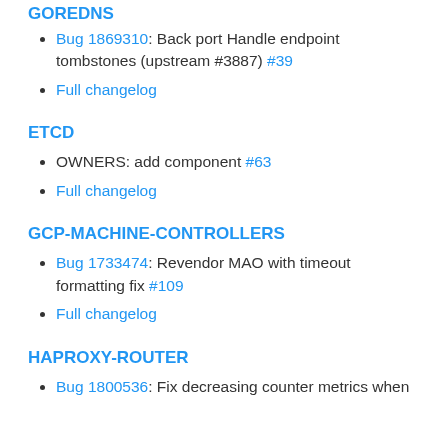GOREDNS
Bug 1869310: Back port Handle endpoint tombstones (upstream #3887) #39
Full changelog
ETCD
OWNERS: add component #63
Full changelog
GCP-MACHINE-CONTROLLERS
Bug 1733474: Revendor MAO with timeout formatting fix #109
Full changelog
HAPROXY-ROUTER
Bug 1800536: Fix decreasing counter metrics when